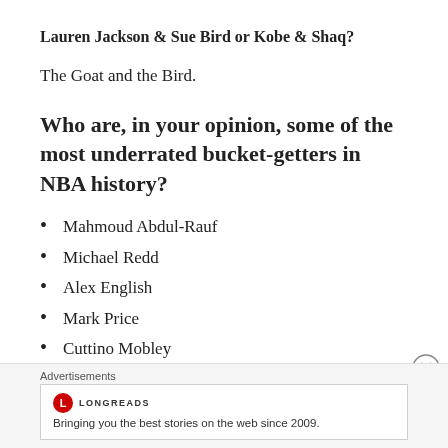Lauren Jackson & Sue Bird or Kobe & Shaq?
The Goat and the Bird.
Who are, in your opinion, some of the most underrated bucket-getters in NBA history?
Mahmoud Abdul-Rauf
Michael Redd
Alex English
Mark Price
Cuttino Mobley
Antawn Jamison
Advertisements
[Figure (other): Longreads advertisement banner: logo with red circle L, text 'LONGREADS', tagline 'Bringing you the best stories on the web since 2009.']